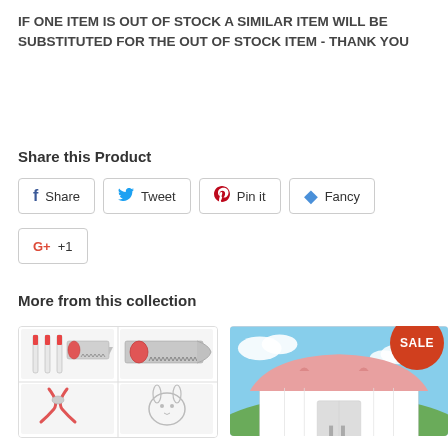IF ONE ITEM IS OUT OF STOCK A SIMILAR ITEM WILL BE SUBSTITUTED FOR THE OUT OF STOCK ITEM - THANK YOU
Share this Product
Share | Tweet | Pin it | Fancy | G+ +1
More from this collection
[Figure (photo): Product thumbnail showing screwdrivers and a hand saw, plus additional small tool images below]
[Figure (photo): A pink barn-style structure under blue sky with clouds, with a red SALE badge overlay]